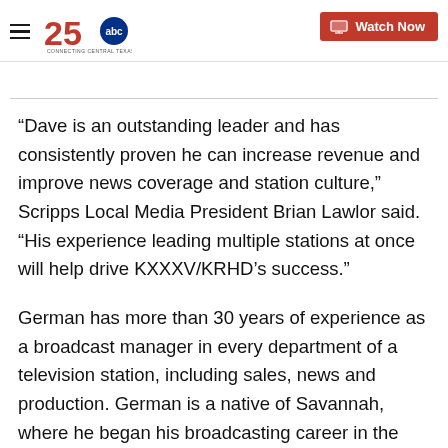KXXV 25 ABC Connecting Central Texas — Watch Now
“Dave is an outstanding leader and has consistently proven he can increase revenue and improve news coverage and station culture,” Scripps Local Media President Brian Lawlor said. “His experience leading multiple stations at once will help drive KXXXV/KRHD’s success.”
German has more than 30 years of experience as a broadcast manager in every department of a television station, including sales, news and production. German is a native of Savannah, where he began his broadcasting career in the engineering department.